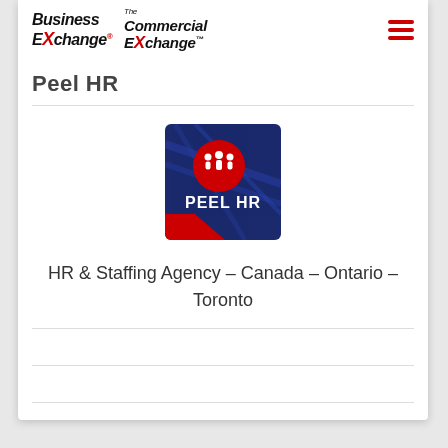[Figure (logo): Business Exchange and The Commercial Exchange logos side by side]
Peel HR
[Figure (logo): Peel HR logo - blue square background with red circle containing white people icons and PEEL HR text in white]
HR & Staffing Agency - Canada - Ontario - Toronto